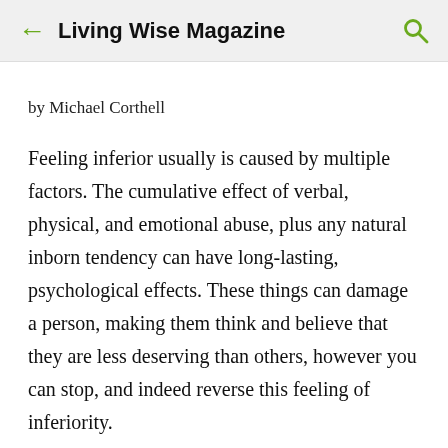Living Wise Magazine
by Michael Corthell
Feeling inferior usually is caused by multiple factors. The cumulative effect of verbal, physical, and emotional abuse, plus any natural inborn tendency can have long-lasting, psychological effects. These things can damage a person, making them think and believe that they are less deserving than others, however you can stop, and indeed reverse this feeling of inferiority.
"No harm...